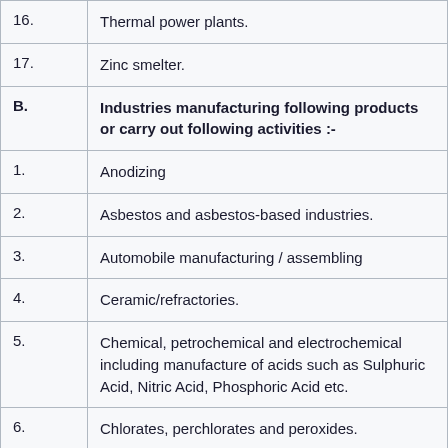| # | Description |
| --- | --- |
| 16. | Thermal power plants. |
| 17. | Zinc smelter. |
| B. | Industries manufacturing following products or carry out following activities :- |
| 1. | Anodizing |
| 2. | Asbestos and asbestos-based industries. |
| 3. | Automobile manufacturing / assembling |
| 4. | Ceramic/refractories. |
| 5. | Chemical, petrochemical and electrochemical including manufacture of acids such as Sulphuric Acid, Nitric Acid, Phosphoric Acid etc. |
| 6. | Chlorates, perchlorates and peroxides. |
| 7. | Chlorine, fluorine, bromine, iodine and their compounds |